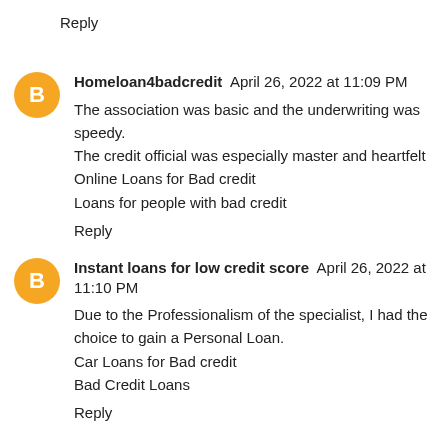Reply
Homeloan4badcredit  April 26, 2022 at 11:09 PM
The association was basic and the underwriting was speedy. The credit official was especially master and heartfelt
Online Loans for Bad credit
Loans for people with bad credit
Reply
Instant loans for low credit score  April 26, 2022 at 11:10 PM
Due to the Professionalism of the specialist, I had the choice to gain a Personal Loan.
Car Loans for Bad credit
Bad Credit Loans
Reply